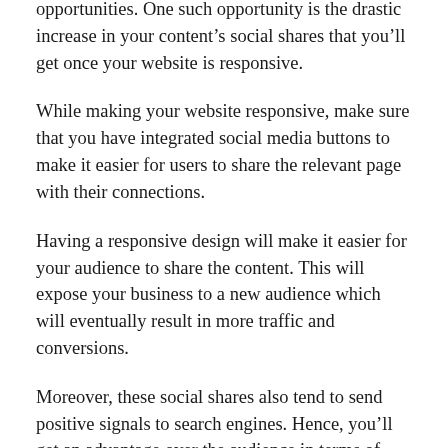opportunities. One such opportunity is the drastic increase in your content's social shares that you'll get once your website is responsive.
While making your website responsive, make sure that you have integrated social media buttons to make it easier for users to share the relevant page with their connections.
Having a responsive design will make it easier for your audience to share the content. This will expose your business to a new audience which will eventually result in more traffic and conversions.
Moreover, these social shares also tend to send positive signals to search engines. Hence, you'll get an advantage over the audience in terms of SERPs rankings.
Over To You